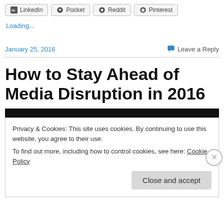[Figure (other): Social share buttons: LinkedIn, Pocket, Reddit, Pinterest]
Loading...
January 25, 2016
Leave a Reply
How to Stay Ahead of Media Disruption in 2016
[Figure (screenshot): Dark video player bar]
Privacy & Cookies: This site uses cookies. By continuing to use this website, you agree to their use.
To find out more, including how to control cookies, see here: Cookie Policy
Close and accept